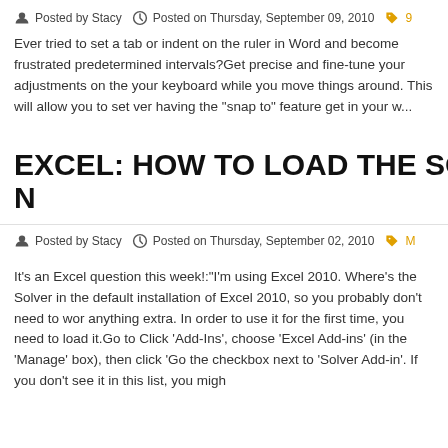Posted by Stacy   Posted on Thursday, September 09, 2010
Ever tried to set a tab or indent on the ruler in Word and become frustrated predetermined intervals?Get precise and fine-tune your adjustments on the your keyboard while you move things around. This will allow you to set ver having the "snap to" feature get in your w...
EXCEL: HOW TO LOAD THE SOLVER ADD-IN
Posted by Stacy   Posted on Thursday, September 02, 2010
It's an Excel question this week!:"I'm using Excel 2010. Where's the Solver in the default installation of Excel 2010, so you probably don't need to wor anything extra. In order to use it for the first time, you need to load it.Go to Click 'Add-Ins', choose 'Excel Add-ins' (in the 'Manage' box), then click 'Go the checkbox next to 'Solver Add-in'. If you don't see it in this list, you migh